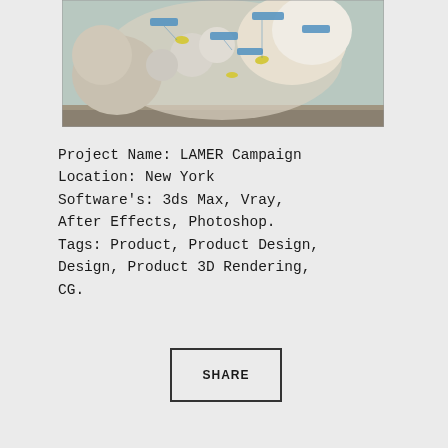[Figure (photo): A 3D rendered aquarium/reef scene showing white coral structures with colorful fish and blue label tags, in a glass display case with a metallic base]
Project Name: LAMER Campaign
Location: New York
Software's: 3ds Max, Vray, After Effects, Photoshop.
Tags: Product, Product Design, Design, Product 3D Rendering, CG.
SHARE